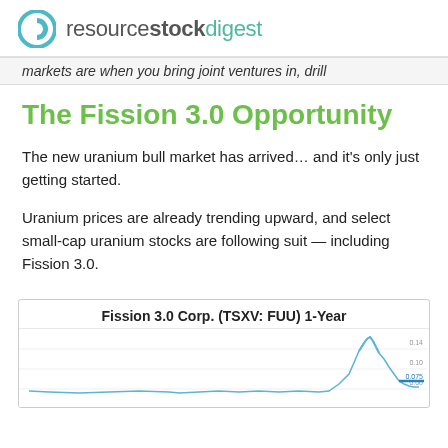resourcestockdigest
markets are when you bring joint ventures in, drill
The Fission 3.0 Opportunity
The new uranium bull market has arrived… and it's only just getting started.
Uranium prices are already trending upward, and select small-cap uranium stocks are following suit — including Fission 3.0.
[Figure (continuous-plot): 1-year stock price chart for Fission 3.0 Corp. (TSXV: FUU) showing a spike near the right side of the chart with a recent price marked in blue. Chart is partially cut off at bottom of page.]